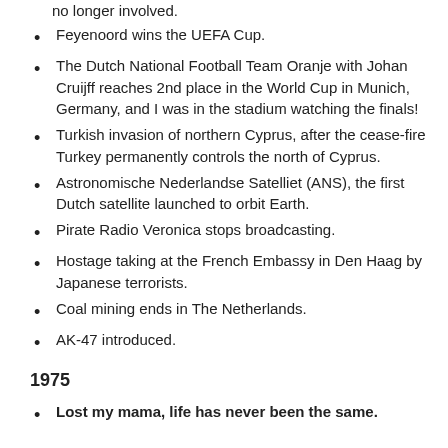no longer involved.
Feyenoord wins the UEFA Cup.
The Dutch National Football Team Oranje with Johan Cruijff reaches 2nd place in the World Cup in Munich, Germany, and I was in the stadium watching the finals!
Turkish invasion of northern Cyprus, after the cease-fire Turkey permanently controls the north of Cyprus.
Astronomische Nederlandse Satelliet (ANS), the first Dutch satellite launched to orbit Earth.
Pirate Radio Veronica stops broadcasting.
Hostage taking at the French Embassy in Den Haag by Japanese terrorists.
Coal mining ends in The Netherlands.
AK-47 introduced.
1975
Lost my mama, life has never been the same.